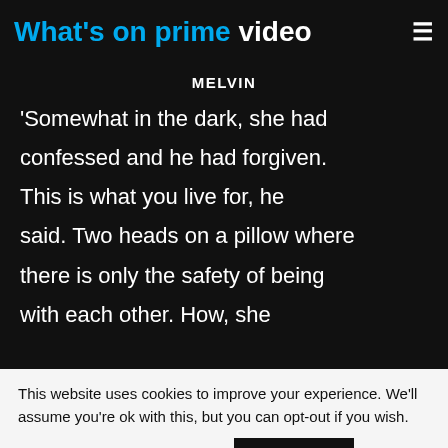What's on prime video
MELVIN
'Somewhat in the dark, she had confessed and he had forgiven. This is what you live for, he said. Two heads on a pillow where there is only the safety of being with each other. How, she
This website uses cookies to improve your experience. We'll assume you're ok with this, but you can opt-out if you wish.
Cookie settings   ACCEPT